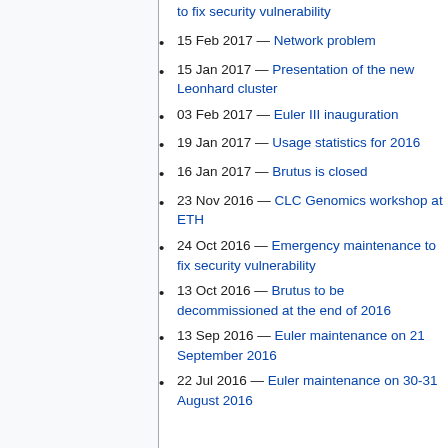to fix security vulnerability
15 Feb 2017 — Network problem
15 Jan 2017 — Presentation of the new Leonhard cluster
03 Feb 2017 — Euler III inauguration
19 Jan 2017 — Usage statistics for 2016
16 Jan 2017 — Brutus is closed
23 Nov 2016 — CLC Genomics workshop at ETH
24 Oct 2016 — Emergency maintenance to fix security vulnerability
13 Oct 2016 — Brutus to be decommissioned at the end of 2016
13 Sep 2016 — Euler maintenance on 21 September 2016
22 Jul 2016 — Euler maintenance on 30-31 August 2016